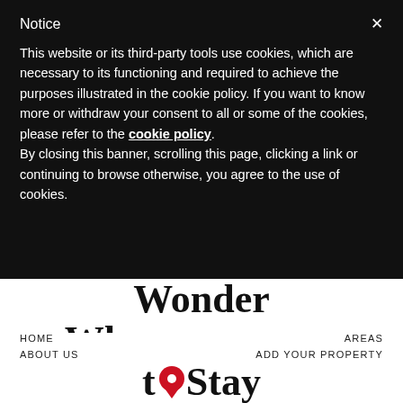Notice
This website or its third-party tools use cookies, which are necessary to its functioning and required to achieve the purposes illustrated in the cookie policy. If you want to know more or withdraw your consent to all or some of the cookies, please refer to the cookie policy.
By closing this banner, scrolling this page, clicking a link or continuing to browse otherwise, you agree to the use of cookies.
[Figure (logo): Wonder Where to Stay logo with red map pin and tagline YOUR PLACE IN ROME]
HOME
AREAS
ABOUT US
ADD YOUR PROPERTY